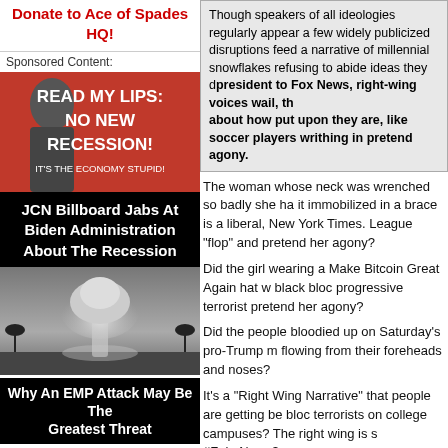Donate to Ace of Spades HQ!
Sponsored Content:
[Figure (photo): Red advertisement banner with Biden silhouette and text READ MY LIPS: NO NEW RECESSION! IT'S THE ECONOMY STUPID!]
JCN Billboard Jabs At Biden Administration About The Recession
[Figure (photo): Black and white nuclear explosion mushroom cloud photograph]
Why An EMP Attack May Be The Greatest Threat
Though speakers of all ideologies regularly appear a few widely publicized disruptions feed a narrative of millennial snowflakes refusing to abide ideas they d... president to Fox News, right-wing voices wail, th... about how put upon they are, like soccer players writhing in pretend agony.
The woman whose neck was wrenched so badly she ha... it immobilized in a brace is a liberal, New York Times... League "flop" and pretend her agony?
Did the girl wearing a Make Bitcoin Great Again hat w... black bloc progressive terrorist pretend her agony?
Did the people bloodied up on Saturday's pro-Trump m... flowing from their foreheads and noses?
It's a "Right Wing Narrative" that people are getting be... bloc terrorists on college campuses? The right wing is s... #FakeNews?
And somehow the fake news lies about black bloc assa... the actual assaults and terrorism?
A bit like how Donald Trump's mention of violence due... caused immigrant rioting the next day?
Defending those who engage in political violence is act... violence.
You know, there are people who still hold out hope that...